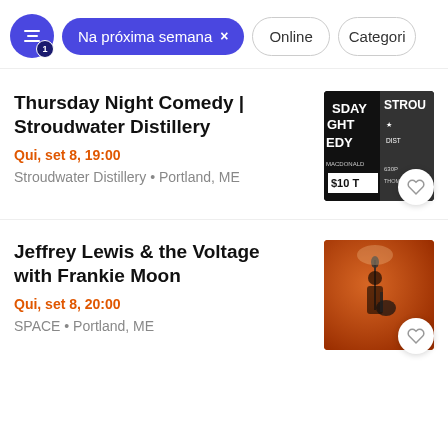Na próxima semana × Online Categori
Thursday Night Comedy | Stroudwater Distillery
Qui, set 8, 19:00
Stroudwater Distillery • Portland, ME
Jeffrey Lewis & the Voltage with Frankie Moon
Qui, set 8, 20:00
SPACE • Portland, ME